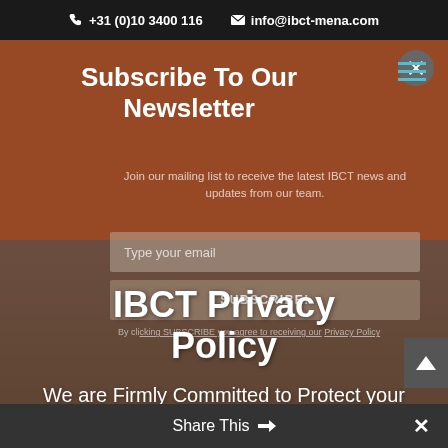+31 (0)10 3400 116   info@ibct-mena.com
Subscribe To Our Newsletter
Join our mailing list to receive the latest IBCT news and updates from our team.
IBCT Privacy Policy
We are Firmly Committed to Protect your Privacy
Share This